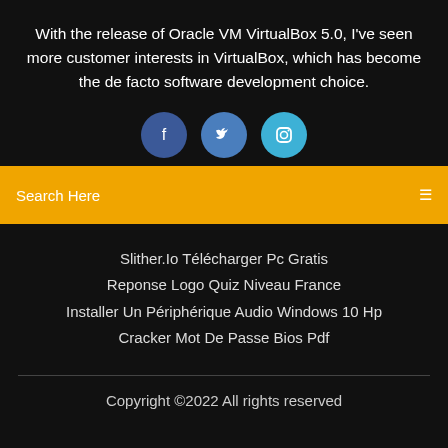With the release of Oracle VM VirtualBox 5.0, I've seen more customer interests in VirtualBox, which has become the de facto software development choice.
[Figure (illustration): Three social media icon circles: Facebook (dark blue), Twitter (medium blue), Instagram (light blue)]
Search Here
Slither.Io Télécharger Pc Gratis
Reponse Logo Quiz Niveau France
Installer Un Périphérique Audio Windows 10 Hp
Cracker Mot De Passe Bios Pdf
Copyright ©2022 All rights reserved